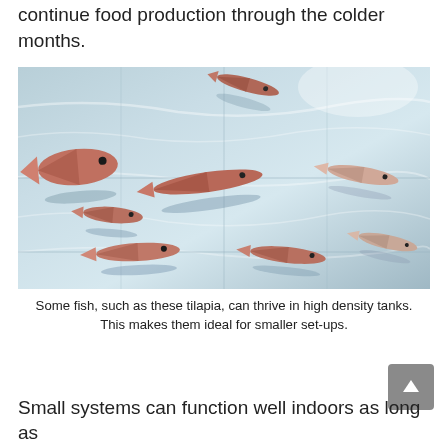continue food production through the colder months.
[Figure (photo): Overhead view of multiple tilapia fish swimming in a light blue high-density tank, their reddish-pink bodies casting shadows on the tank floor.]
Some fish, such as these tilapia, can thrive in high density tanks. This makes them ideal for smaller set-ups.
Small systems can function well indoors as long as